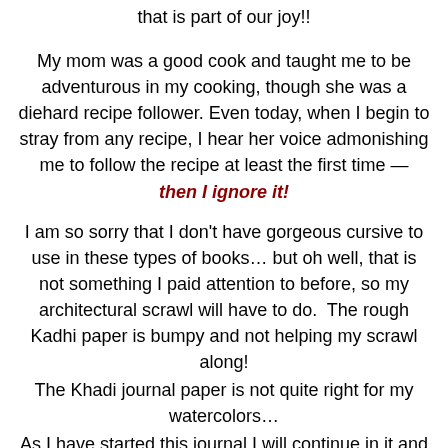that is part of our joy!!
My mom was a good cook and taught me to be adventurous in my cooking, though she was a diehard recipe follower. Even today, when I begin to stray from any recipe, I hear her voice admonishing me to follow the recipe at least the first time — then I ignore it!
I am so sorry that I don't have gorgeous cursive to use in these types of books… but oh well, that is not something I paid attention to before, so my architectural scrawl will have to do.  The rough Kadhi paper is bumpy and not helping my scrawl along!
The Khadi journal paper is not quite right for my watercolors…
As I have started this journal I will continue in it and am learning to work with the extra bumpy paper.  It is hard to